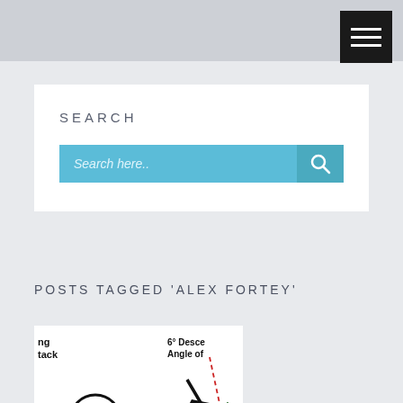Navigation bar with hamburger menu
SEARCH
Search here..
POSTS TAGGED 'ALEX FORTEY'
[Figure (illustration): Golf ball launch angle diagram showing a wheel/ball with angle indicators, a club face, and a '6° Descent Angle of' annotation with red dashed line. Green ground line at bottom.]
b has a unique initial launch angle and spin